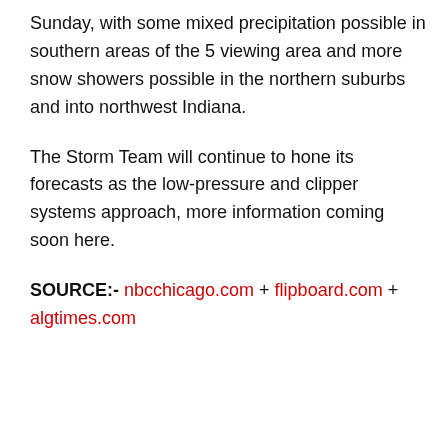Sunday, with some mixed precipitation possible in southern areas of the 5 viewing area and more snow showers possible in the northern suburbs and into northwest Indiana.
The Storm Team will continue to hone its forecasts as the low-pressure and clipper systems approach, more information coming soon here.
SOURCE:- nbcchicago.com + flipboard.com + algtimes.com